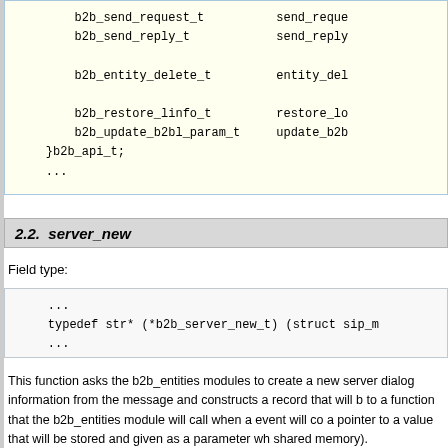b2b_send_request_t    send_reque
b2b_send_reply_t      send_reply

b2b_entity_delete_t   entity_del

b2b_restore_linfo_t   restore_lo
b2b_update_b2bl_param_t  update_b2b
}b2b_api_t;
...
2.2.  server_new
Field type:
...
typedef str* (*b2b_server_new_t) (struct sip_m
...
This function asks the b2b_entities modules to create a new server dialog information from the message and constructs a record that will b to a function that the b2b_entities module will call when a event will co a pointer to a value that will be stored and given as a parameter wh shared memory).